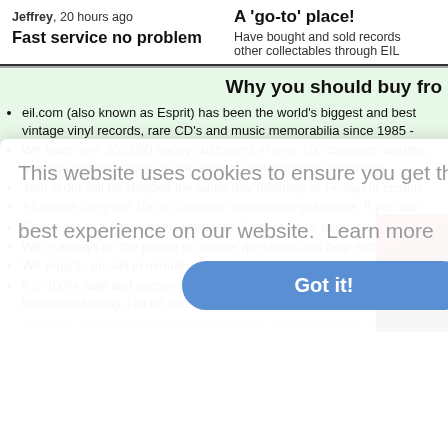Jeffrey, 20 hours ago
Fast service no problem
A 'go-to' place!
Have bought and sold records other collectables through EIL
Why you should buy fro
eil.com (also known as Esprit) has been the world's biggest and best vintage vinyl records, rare CD's and music memorabilia since 1985 -
We have over 500,000 happy customers in over 100 countries worldw... average positive rating of over 99% on Amazon sites worldwide.
Your order will be shipped the same day (Monday to Friday) in custon
All orders carry our 100% customer satisfaction guarantee. If you don
Check out thousands of independent 5 star reviews about us [TRUSTP]
We're always on the phone to answer questions and help with any or
We reply to emails in minutes and hours, not days.
It is 100% safe and secure to order from us as we have been indep... transmitted using 128 bit encryption with 'Extended Validation SSL' a...
using the strictest authentication standard. See the padlock symbol sh
This website uses cookies to ensure you get the best experience on our website.  Learn more
Got it!